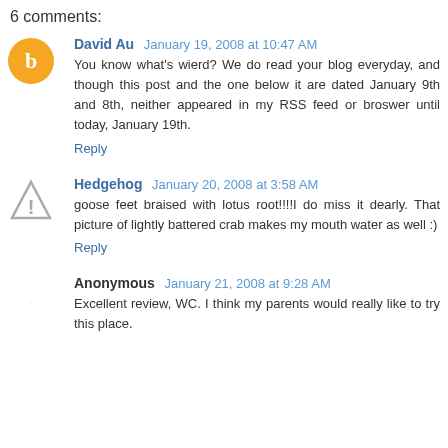6 comments:
David Au January 19, 2008 at 10:47 AM
You know what's wierd? We do read your blog everyday, and though this post and the one below it are dated January 9th and 8th, neither appeared in my RSS feed or broswer until today, January 19th.
Reply
Hedgehog January 20, 2008 at 3:58 AM
goose feet braised with lotus root!!!!I do miss it dearly. That picture of lightly battered crab makes my mouth water as well :)
Reply
Anonymous January 21, 2008 at 9:28 AM
Excellent review, WC. I think my parents would really like to try this place.